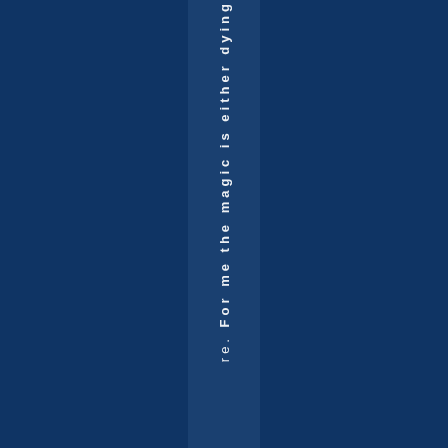re. For me the magic is either dying